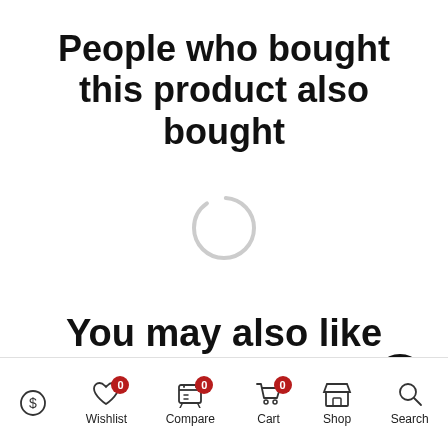People who bought this product also bought
[Figure (other): Loading spinner — a circle with a transparent top segment indicating loading state]
You may also like these products
Wishlist 0  Compare 0  Cart 0  Shop  Search